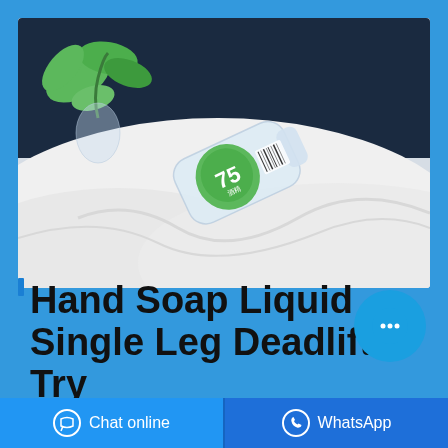[Figure (photo): A clear plastic bottle of hand sanitizer/soap with a green label showing '75' lying on white fabric/cloth, with green plant leaves visible in the upper left corner and a dark navy blue background]
Hand Soap Liquid Single Leg Deadlift Try